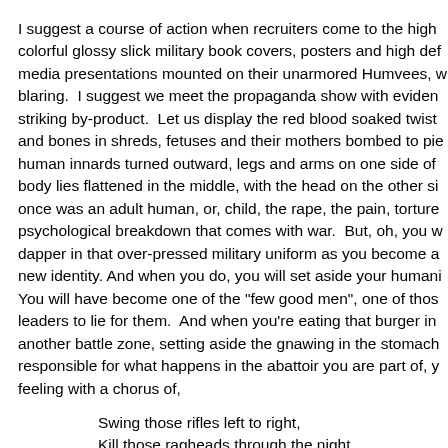I suggest a course of action when recruiters come to the high colorful glossy slick military book covers, posters and high def media presentations mounted on their unarmored Humvees, w blaring.  I suggest we meet the propaganda show with eviden striking by-product.  Let us display the red blood soaked twist and bones in shreds, fetuses and their mothers bombed to pie human innards turned outward, legs and arms on one side of body lies flattened in the middle, with the head on the other si once was an adult human, or, child, the rape, the pain, torture psychological breakdown that comes with war.  But, oh, you w dapper in that over-pressed military uniform as you become a new identity. And when you do, you will set aside your humani You will have become one of the "few good men", one of thos leaders to lie for them.  And when you're eating that burger in another battle zone, setting aside the gnawing in the stomach responsible for what happens in the abattoir you are part of, y feeling with a chorus of,
Swing those rifles left to right,
Kill those ragheads through the night.
Semper fi, my man.  Semper fi.
Violence can only be concealed by a lie, and the lie can